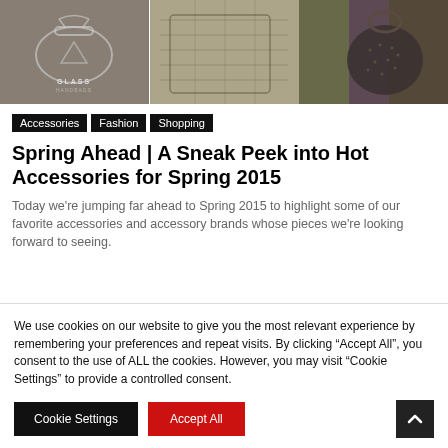[Figure (photo): Three panel hero image showing fashion handbags: left panel shows a grey glass handbag, center panel shows a snakeskin-textured bag, right panel shows a dark perforated handbag with colorful clothing in background]
Accessories
Fashion
Shopping
Spring Ahead | A Sneak Peek into Hot Accessories for Spring 2015
Today we’re jumping far ahead to Spring 2015 to highlight some of our favorite accessories and accessory brands whose pieces we’re looking forward to seeing.
We use cookies on our website to give you the most relevant experience by remembering your preferences and repeat visits. By clicking “Accept All”, you consent to the use of ALL the cookies. However, you may visit "Cookie Settings" to provide a controlled consent.